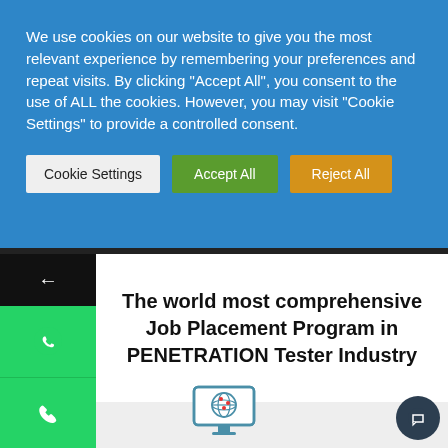We use cookies on our website to give you the most relevant experience by remembering your preferences and repeat visits. By clicking "Accept All", you consent to the use of ALL the cookies. However, you may visit "Cookie Settings" to provide a controlled consent.
Cookie Settings
Accept All
Reject All
The world most comprehensive Job Placement Program in PENETRATION Tester Industry
[Figure (illustration): Globe icon on a computer monitor with red location pins]
Class or Online